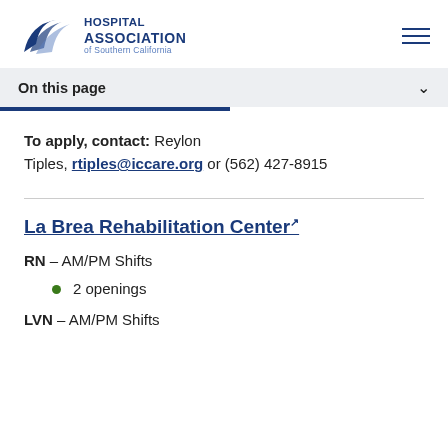Hospital Association of Southern California
On this page
To apply, contact: Reylon Tiples, rtiples@iccare.org or (562) 427-8915
La Brea Rehabilitation Center
RN – AM/PM Shifts
2 openings
LVN – AM/PM Shifts